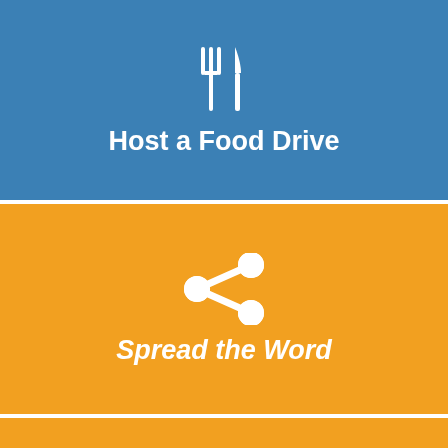[Figure (infographic): Blue section with fork and knife icon and text 'Host a Food Drive' on blue background]
Host a Food Drive
[Figure (infographic): Orange section with social share icon and italic bold text 'Spread the Word']
Spread the Word
[Figure (infographic): Orange textured section with leaf pattern background, hamburger menu icon, Log In link with key icon, and Join Our Mailing List text]
Log In
Join Our Mailing List